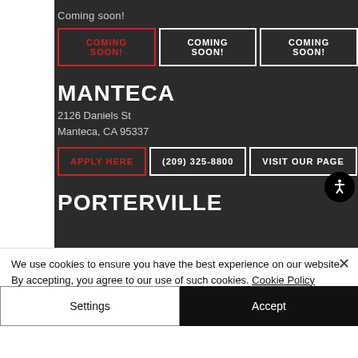Coming soon!
COMING SOON! COMING SOON! COMING SOON!
MANTECA
2126 Daniels St
Manteca, CA 95337
APPLY HERE  (209) 325-8800  VISIT OUR PAGE
PORTERVILLE
We use cookies to ensure you have the best experience on our website. By accepting, you agree to our use of such cookies. Cookie Policy
Settings
Accept